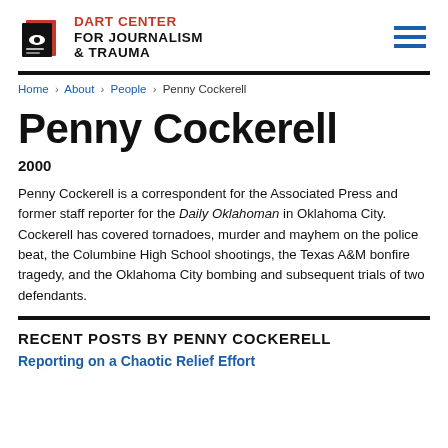DART CENTER FOR JOURNALISM & TRAUMA
Home › About › People › Penny Cockerell
Penny Cockerell
2000
Penny Cockerell is a correspondent for the Associated Press and former staff reporter for the Daily Oklahoman in Oklahoma City. Cockerell has covered tornadoes, murder and mayhem on the police beat, the Columbine High School shootings, the Texas A&M bonfire tragedy, and the Oklahoma City bombing and subsequent trials of two defendants.
RECENT POSTS BY PENNY COCKERELL
Reporting on a Chaotic Relief Effort